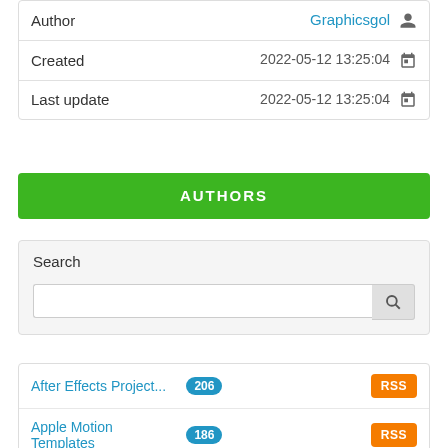| Field | Value |
| --- | --- |
| Author | Graphicsgol |
| Created | 2022-05-12 13:25:04 |
| Last update | 2022-05-12 13:25:04 |
AUTHORS
Search
After Effects Project... 206  RSS
Apple Motion Templates 186  RSS
Motion Graphics 267  RSS